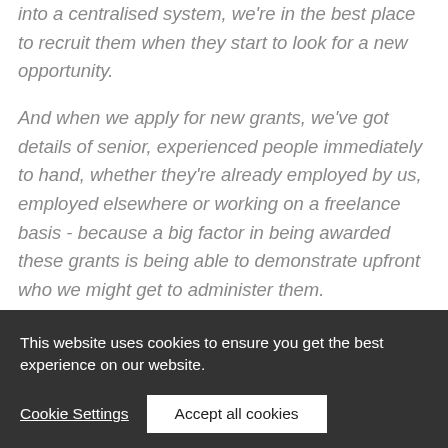into a centralised system, we're in the best place to recruit them when they start to look for a new opportunity.
And when we apply for new grants, we've got details of senior, experienced people immediately to hand, whether they're already employed by us, employed elsewhere or working on a freelance basis - because a big factor in being awarded these grants is being able to demonstrate upfront who we might get to administer them.
This website uses cookies to ensure you get the best experience on our website.
Cookie Settings
Accept all cookies